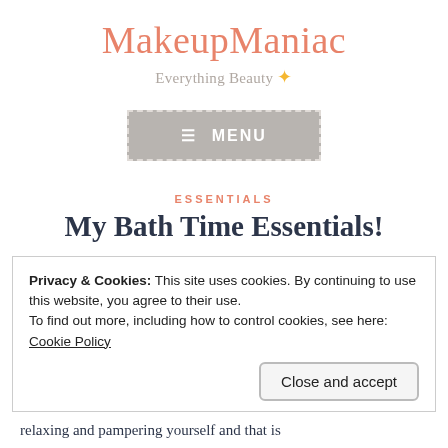MakeupManiac
Everything Beauty ✦
[Figure (screenshot): Gray MENU button with dashed border and hamburger icon]
ESSENTIALS
My Bath Time Essentials!
Privacy & Cookies: This site uses cookies. By continuing to use this website, you agree to their use.
To find out more, including how to control cookies, see here:
Cookie Policy

Close and accept
relaxing and pampering yourself and that is